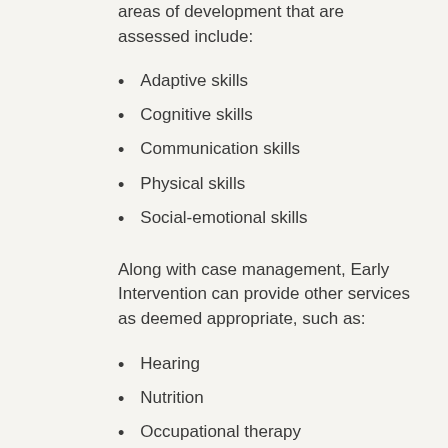areas of development that are assessed include:
Adaptive skills
Cognitive skills
Communication skills
Physical skills
Social-emotional skills
Along with case management, Early Intervention can provide other services as deemed appropriate, such as:
Hearing
Nutrition
Occupational therapy
Physical therapy
Special instruction
Speech therapy